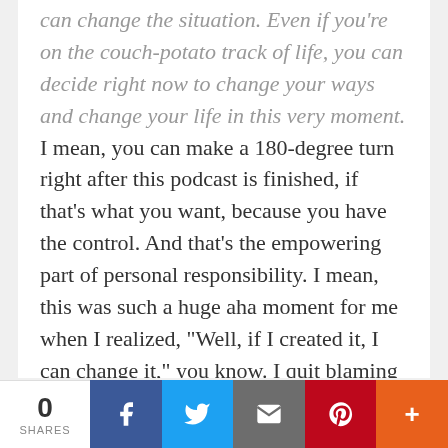can change the situation. Even if you're on the couch-potato track of life, you can decide right now to change your ways and change your life in this very moment. I mean, you can make a 180-degree turn right after this podcast is finished, if that's what you want, because you have the control. And that's the empowering part of personal responsibility. I mean, this was such a huge aha moment for me when I realized, “Well, if I created it, I can change it,” you know. I quit blaming external sources.
(05:57):
I quit playing the victim. I stopped being so
0 SHARES | Facebook | Twitter | Email | Pinterest | More